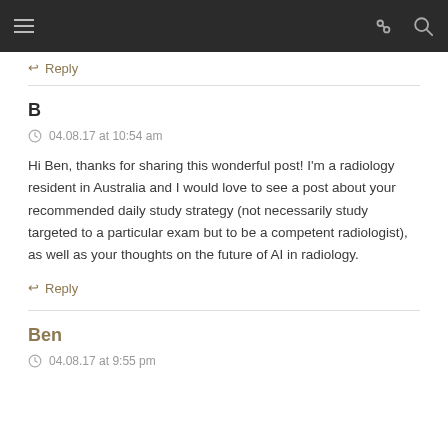Navigation bar with menu, link, and search icons
↩ Reply
B
04.08.17 at 10:54 am
Hi Ben, thanks for sharing this wonderful post! I'm a radiology resident in Australia and I would love to see a post about your recommended daily study strategy (not necessarily study targeted to a particular exam but to be a competent radiologist), as well as your thoughts on the future of AI in radiology.
↩ Reply
Ben
04.08.17 at 9:55 pm